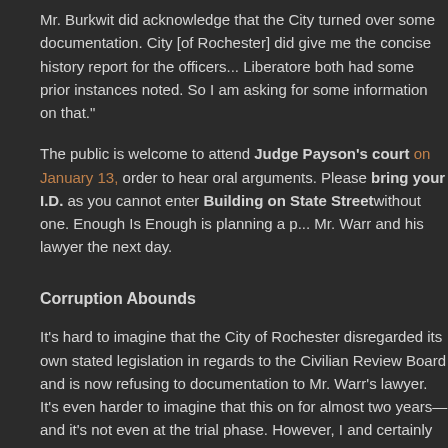Mr. Burkwit did acknowledge that the City turned over some documentation. City [of Rochester] did give me the concise history report for the officers... Liberatore both had some prior instances noted. So I am asking for some information on that."
The public is welcome to attend Judge Payson's court on January 13, order to hear oral arguments. Please bring your I.D. as you cannot enter Building on State Street without one. Enough Is Enough is planning a p... Mr. Warr and his lawyer the next day.
Corruption Abounds
It's hard to imagine that the City of Rochester disregarded its own stated legislation in regards to the Civilian Review Board and is now refusing to documentation to Mr. Warr's lawyer. It's even harder to imagine that this on for almost two years—and it's not even at the trial phase. However, I and certainly can imagine, that the so-called “investigation” was really m stamp session giving passes to violent officers who routinely use their po out brutality and misconduct in order to get compliance from the people to protect. They don't have the nicknames “Joey” “Rock” “Big Face” “Cowbo others for nothing. The communities in which these officers patrol bestow upon them because of their heinous and barbaric acts. Their nicknames community as identifiers and warning signs. What it seems to come dow have always known—especially those in Black, Brown, and poor comm